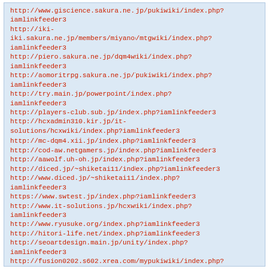http://www.giscience.sakura.ne.jp/pukiwiki/index.php?iamlinkfeeder3
http://iki-iki.sakura.ne.jp/members/miyano/mtgwiki/index.php?iamlinkfeeder3
http://piero.sakura.ne.jp/dqm4wiki/index.php?iamlinkfeeder3
http://aomoritrpg.sakura.ne.jp/pukiwiki/index.php?iamlinkfeeder3
http://try.main.jp/powerpoint/index.php?iamlinkfeeder3
http://players-club.sub.jp/index.php?iamlinkfeeder3
http://hcxadmin310.kir.jp/it-solutions/hcxwiki/index.php?iamlinkfeeder3
http://mc-dqm4.xii.jp/index.php?iamlinkfeeder3
http://cod-aw.netgamers.jp/index.php?iamlinkfeeder3
http://aawolf.uh-oh.jp/index.php?iamlinkfeeder3
http://diced.jp/~shiketai11/index.php?iamlinkfeeder3
http://www.diced.jp/~shiketai11/index.php?iamlinkfeeder3
https://www.swtest.jp/index.php?iamlinkfeeder3
http://www.it-solutions.jp/hcxwiki/index.php?iamlinkfeeder3
http://www.ryusuke.org/index.php?iamlinkfeeder3
http://hitori-life.net/index.php?iamlinkfeeder3
http://seoartdesign.main.jp/unity/index.php?iamlinkfeeder3
http://fusion0202.s602.xrea.com/mypukiwiki/index.php?iamlinkfeeder3
http://origate.ipad.com/wikipedia/?iamlinkfeeder3